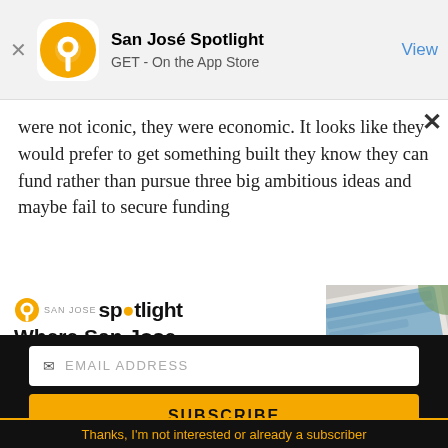[Figure (screenshot): App store banner for San José Spotlight app with orange circular logo, app name, GET - On the App Store subtitle, and View button]
were not iconic, they were economic. It looks like they would prefer to get something built they know they can fund rather than pursue three big ambitious ideas and maybe fail to secure funding
[Figure (advertisement): San José Spotlight advertisement with logo, tagline 'Where San Jose locals start the day.' and URL sanjosespotlight.com, with tablet device image on right]
EMAIL ADDRESS
SUBSCRIBE
Thanks, I'm not interested or already a subscriber